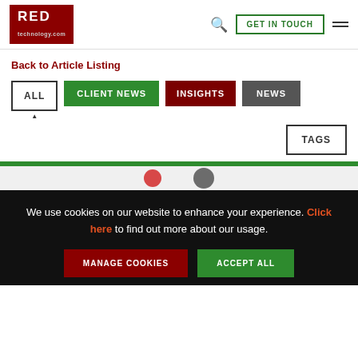[Figure (logo): RED technology logo - red square with WHITE text RED and red text technology.com below]
GET IN TOUCH
Back to Article Listing
ALL
CLIENT NEWS
INSIGHTS
NEWS
TAGS
[Figure (photo): Partially visible article image with green bar at top]
We use cookies on our website to enhance your experience. Click here to find out more about our usage.
MANAGE COOKIES
ACCEPT ALL